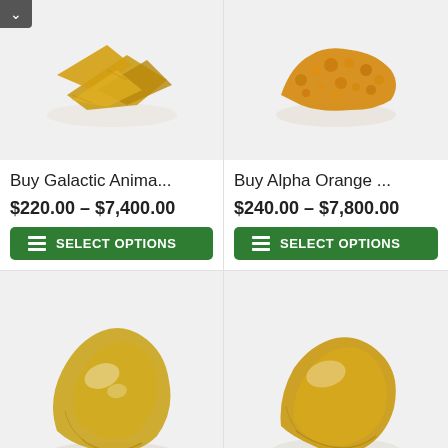[Figure (photo): Cannabis shatter product photo - golden/amber flat pieces on white background]
Buy Galactic Anima...
$220.00 – $7,400.00
SELECT OPTIONS
[Figure (photo): Cannabis crumble product photo - orange textured crumble on white background]
Buy Alpha Orange ...
$240.00 – $7,800.00
SELECT OPTIONS
[Figure (photo): Cannabis wax/shatter product photo - yellow-golden shatter pieces on white background]
[Figure (photo): Cannabis budder/wax product photo - golden budder chunk on white background]